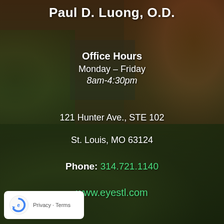Paul D. Luong, O.D.
Office Hours
Monday – Friday
8am-4:30pm
121 Hunter Ave., STE 102
St. Louis, MO 63124
Phone: 314.721.1140
www.eyestl.com
[Figure (logo): Google reCAPTCHA logo badge with Privacy and Terms text]